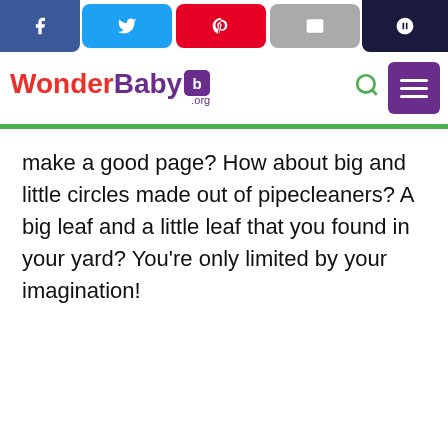WonderBaby.org — social sharing bar and navigation
make a good page? How about big and little circles made out of pipecleaners? A big leaf and a little leaf that you found in your yard? You're only limited by your imagination!